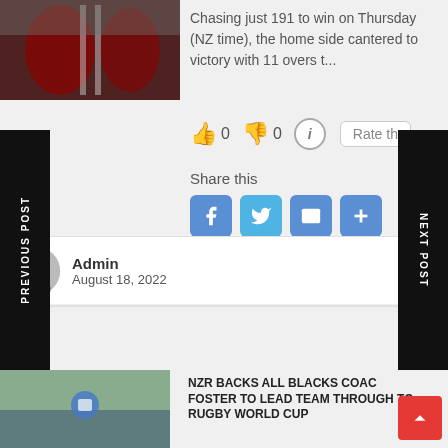[Figure (photo): Sports photo of cricket players in dark red/maroon uniforms]
Chasing just 191 to win on Thursday (NZ time), the home side cantered to victory with 11 overs t...
[Figure (infographic): Rating widget with thumbs up (0), thumbs down (0), info button, and Rate this button]
Share this
[Figure (infographic): Social share buttons: Facebook, Twitter, Email, More]
Admin
August 18, 2022
PREVIOUS POST
NEXT POST
[Figure (photo): Photo of rugby coaches with NZR/Adidas branding]
NZR BACKS ALL BLACKS COACH FOSTER TO LEAD TEAM THROUGH TO RUGBY WORLD CUP